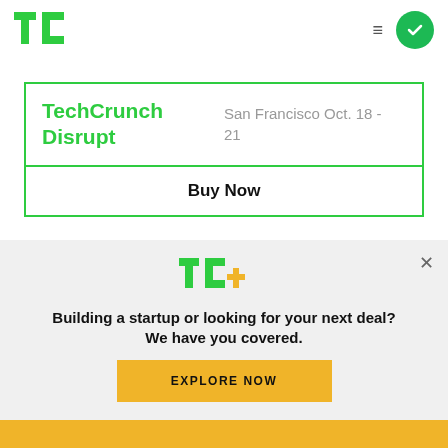[Figure (logo): TechCrunch TC logo in green, top left of nav bar]
[Figure (logo): Hamburger menu icon and green circle checkmark button, top right nav]
TechCrunch Disrupt
San Francisco Oct. 18 - 21
Buy Now
[Figure (logo): TC+ logo in green with gold plus sign]
Building a startup or looking for your next deal? We have you covered.
EXPLORE NOW